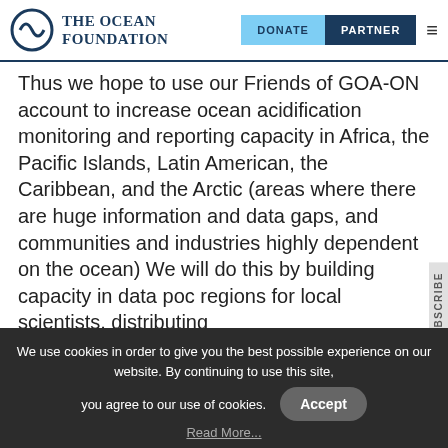The Ocean Foundation | DONATE | PARTNER
Thus we hope to use our Friends of GOA-ON account to increase ocean acidification monitoring and reporting capacity in Africa, the Pacific Islands, Latin American, the Caribbean, and the Arctic (areas where there are huge information and data gaps, and communities and industries highly dependent on the ocean) We will do this by building capacity in data poor regions for local scientists, distributing activities.
We use cookies in order to give you the best possible experience on our website. By continuing to use this site, you agree to our use of cookies.
Accept
Read More...